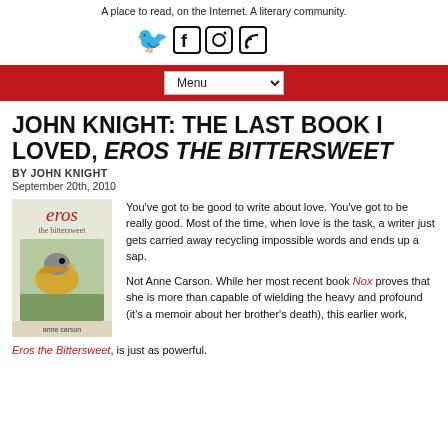A place to read, on the Internet. A literary community.
[Figure (other): Social media icons: Twitter bird, Facebook f, Instagram camera, RSS feed]
[Figure (other): Red navigation bar with Menu dropdown]
JOHN KNIGHT: THE LAST BOOK I LOVED, EROS THE BITTERSWEET
BY JOHN KNIGHT
September 20th, 2010
[Figure (photo): Book cover of Eros the Bittersweet by Anne Carson, showing a bird illustration with red 'eros' title text]
You've got to be good to write about love. You've got to be really good. Most of the time, when love is the task, a writer just gets carried away recycling impossible words and ends up a sap.
Not Anne Carson. While her most recent book Nox proves that she is more than capable of wielding the heavy and profound (it's a memoir about her brother's death), this earlier work, Eros the Bittersweet, is just as powerful.